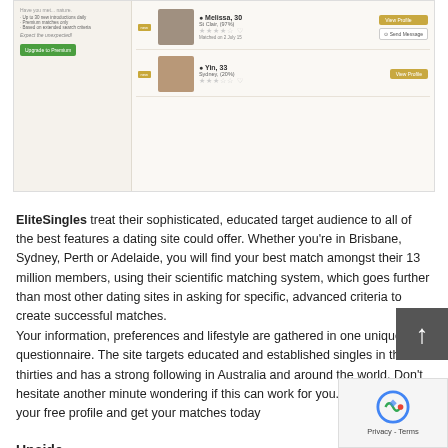[Figure (screenshot): Screenshot of EliteSingles dating website showing two user profiles: Melissa, 30, St Clair (97%) matched on 2 July 15, and Yin, 33, Sydney (20%). Both have View Profile buttons. Left sidebar shows upgrade to Premium option with green button.]
EliteSingles treat their sophisticated, educated target audience to all of the best features a dating site could offer. Whether you're in Brisbane, Sydney, Perth or Adelaide, you will find your best match amongst their 13 million members, using their scientific matching system, which goes further than most other dating sites in asking for specific, advanced criteria to create successful matches.
Your information, preferences and lifestyle are gathered in one unique questionnaire. The site targets educated and established singles in their thirties and has a strong following in Australia and around the world. Don't hesitate another minute wondering if this can work for you. Sign up now for your free profile and get your matches today
Upside